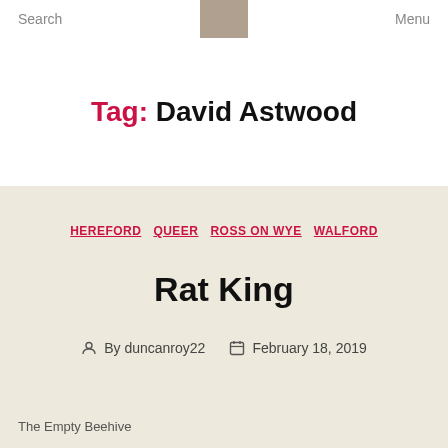Search   Menu
Tag: David Astwood
HEREFORD   QUEER   ROSS ON WYE   WALFORD
Rat King
By duncanroy22   February 18, 2019
The Empty Beehive